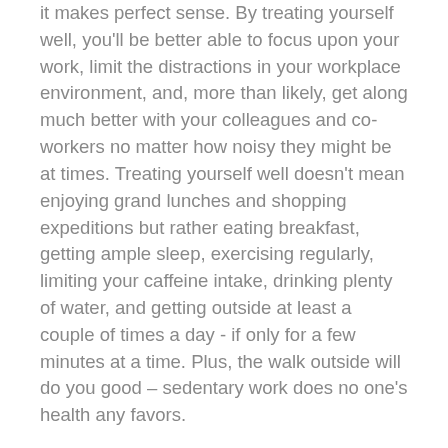it makes perfect sense. By treating yourself well, you'll be better able to focus upon your work, limit the distractions in your workplace environment, and, more than likely, get along much better with your colleagues and co-workers no matter how noisy they might be at times. Treating yourself well doesn't mean enjoying grand lunches and shopping expeditions but rather eating breakfast, getting ample sleep, exercising regularly, limiting your caffeine intake, drinking plenty of water, and getting outside at least a couple of times a day - if only for a few minutes at a time. Plus, the walk outside will do you good – sedentary work does no one's health any favors.
2. Limit multitasking
It seems like a skill every modern worker is expected to possess, but countless studies show time and time again that multitasking can actually limit productivity. Granted, there are times when you'll need to